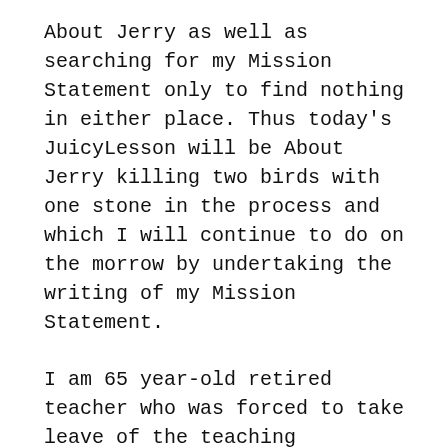About Jerry as well as searching for my Mission Statement only to find nothing in either place. Thus today's JuicyLesson will be About Jerry killing two birds with one stone in the process and which I will continue to do on the morrow by undertaking the writing of my Mission Statement.
I am 65 year-old retired teacher who was forced to take leave of the teaching profession in 2010 after a career which spanned approximately thirty-four years beginning in 1974 and interrupted between 1977 and 1979